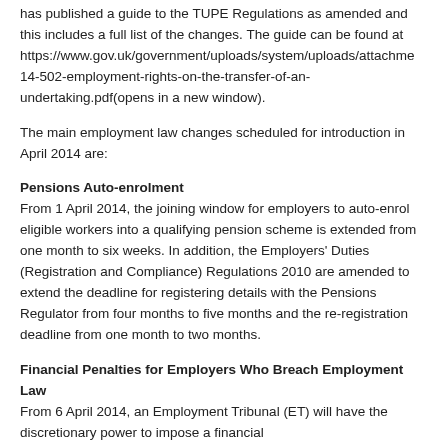has published a guide to the TUPE Regulations as amended and this includes a full list of the changes. The guide can be found at https://www.gov.uk/government/uploads/system/uploads/attachme 14-502-employment-rights-on-the-transfer-of-an-undertaking.pdf(opens in a new window).
The main employment law changes scheduled for introduction in April 2014 are:
Pensions Auto-enrolment
From 1 April 2014, the joining window for employers to auto-enrol eligible workers into a qualifying pension scheme is extended from one month to six weeks. In addition, the Employers' Duties (Registration and Compliance) Regulations 2010 are amended to extend the deadline for registering details with the Pensions Regulator from four months to five months and the re-registration deadline from one month to two months.
Financial Penalties for Employers Who Breach Employment Law
From 6 April 2014, an Employment Tribunal (ET) will have the discretionary power to impose a financial